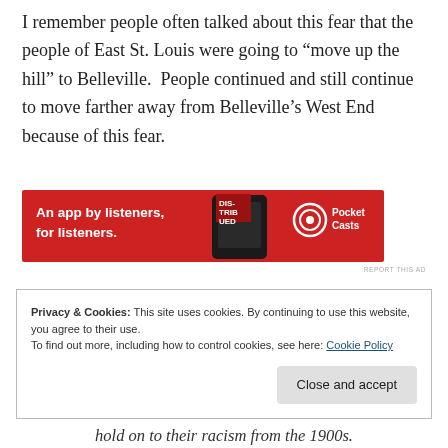I remember people often talked about this fear that the people of East St. Louis were going to “move up the hill” to Belleville.  People continued and still continue to move farther away from Belleville’s West End because of this fear.
[Figure (other): Pocket Casts advertisement banner: red background, text 'An app by listeners, for listeners.' with phone graphic and Pocket Casts logo]
REPORT THIS AD
Privacy & Cookies: This site uses cookies. By continuing to use this website, you agree to their use.
To find out more, including how to control cookies, see here: Cookie Policy
Close and accept
hold on to their racism from the 1900s.